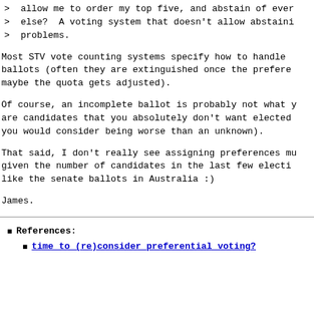>  allow me to order my top five, and abstain of ever
>  else?  A voting system that doesn't allow abstaini
>  problems.
Most STV vote counting systems specify how to handle 
ballots (often they are extinguished once the prefere
maybe the quota gets adjusted).
Of course, an incomplete ballot is probably not what y
are candidates that you absolutely don't want elected
you would consider being worse than an unknown).
That said, I don't really see assigning preferences mu
given the number of candidates in the last few electi
like the senate ballots in Australia :)
James.
References:
time to (re)consider preferential voting?